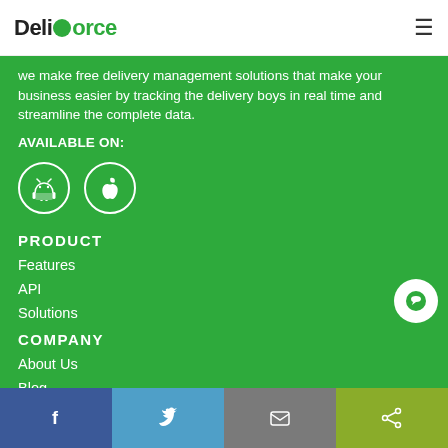[Figure (logo): Deliforce logo with green circular icon and green 'o' letter]
we make free delivery management solutions that make your business easier by tracking the delivery boys in real time and streamline the complete data.
AVAILABLE ON:
[Figure (illustration): Android and Apple app store icons in white circles]
PRODUCT
Features
API
Solutions
COMPANY
About Us
Blog
[Figure (infographic): Footer social share bar with Facebook, Twitter, Email, and Share buttons]